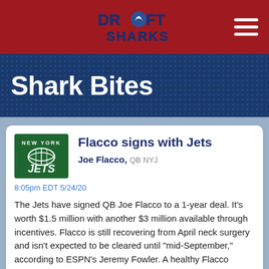[Figure (logo): Draft Sharks logo in navy red navigation bar with hamburger menu icon]
Shark Bites
Flacco signs with Jets
Joe Flacco, QB NYJ
8:05pm EDT 5/24/20
The Jets have signed QB Joe Flacco to a 1-year deal. It's worth $1.5 million with another $3 million available through incentives. Flacco is still recovering from April neck surgery and isn't expected to be cleared until "mid-September," according to ESPN's Jeremy Fowler. A healthy Flacco should slide in as QB Sam Darnold's backup. Darnold has dealt with a